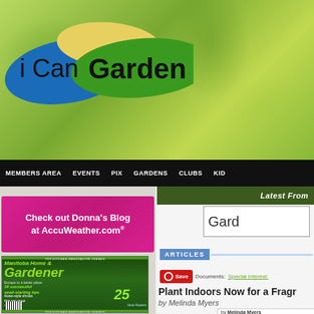[Figure (logo): i Can Garden logo with colorful blob shapes in blue, yellow, and green behind the handwritten text]
MEMBERS AREA  EVENTS  PIX  GARDENS  CLUBS  KID
Latest From
[Figure (illustration): Check out Donna's Blog at AccuWeather.com® advertisement banner with pink/magenta background]
[Figure (photo): Manitoba Home & Gardener magazine cover featuring grasses, 16 successful seed-starting tips, Asian-style shrubs, 25 blue flowers]
Gard
ARTICLES
Documents: Special Interest:
Plant Indoors Now for a Fragr
by Melinda Myers
by Melinda Myers
Gardening expert Melinda Myers has Small Space Gardening and the Mi